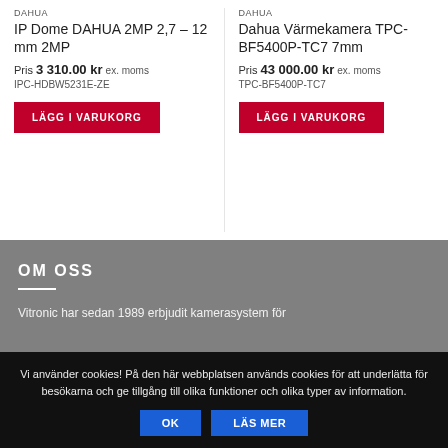DAHUA
IP Dome DAHUA 2MP 2,7 – 12 mm 2MP
Pris 3 310.00 kr ex. moms
IPC-HDBW5231E-ZE
LÄGG I VARUKORG
DAHUA
Dahua Värmekamera TPC-BF5400P-TC7 7mm
Pris 43 000.00 kr ex. moms
TPC-BF5400P-TC7
LÄGG I VARUKORG
OM OSS
Vitronic har sedan 1989 erbjudit kamerasystem för
Vi använder cookies! På den här webbplatsen används cookies för att underlätta för besökarna och ge tillgång till olika funktioner och olika typer av information.
OK
LÄS MER